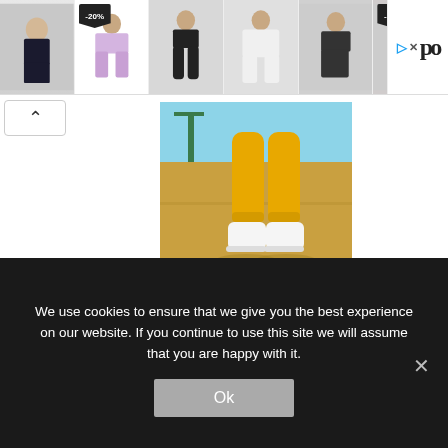[Figure (photo): Ad banner strip with 6 athletic/fashion clothing items including sportswear, shorts, pants, jacket, and workout sets with -20% and -50% discount badges, and a logo on the right]
[Figure (photo): Person wearing yellow/mustard jogger pants and white boots standing on an outdoor basketball court]
Fashion Hashtags
We use cookies to ensure that we give you the best experience on our website. If you continue to use this site we will assume that you are happy with it.